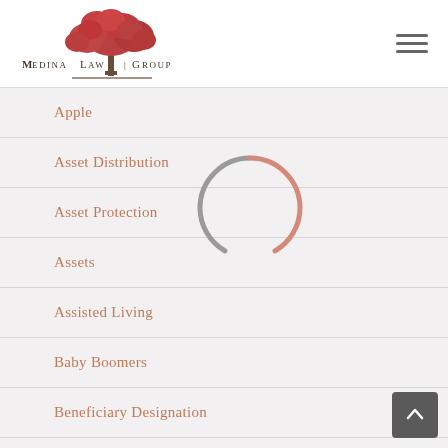[Figure (logo): Medina Law Group logo with red tree and serif text]
Apple
Asset Distribution
Asset Protection
Assets
Assisted Living
Baby Boomers
Beneficiary Designation
Business
[Figure (infographic): Loading spinner circle overlay in salmon/gray colors]
[Figure (other): Back to top button with upward arrow]